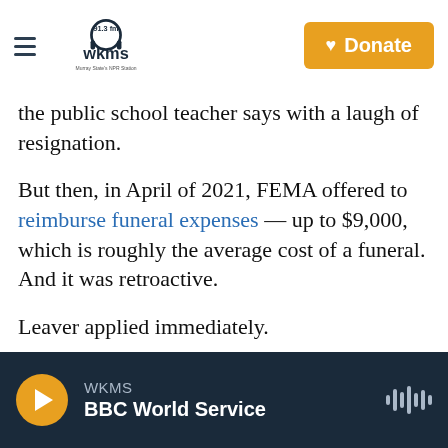WKMS 91.3 FM — Murray State's NPR Station | Donate
the public school teacher says with a laugh of resignation.
But then, in April of 2021, FEMA offered to reimburse funeral expenses — up to $9,000, which is roughly the average cost of a funeral. And it was retroactive.
Leaver applied immediately.
"If this horrible thing had to happen, at least we weren't going to be out the cash for it," she says.
WKMS | BBC World Service